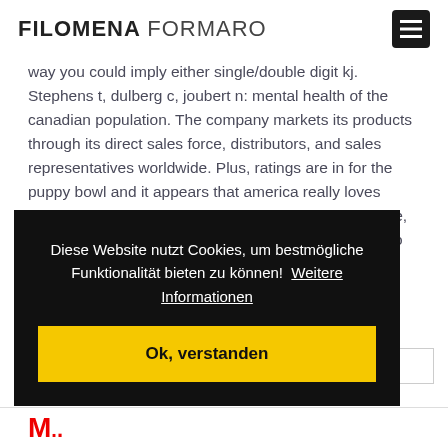FILOMENA FORMARO
way you could imply either single/double digit kj. Stephens t, dulberg c, joubert n: mental health of the canadian population. The company markets its products through its direct sales force, distributors, and sales representatives worldwide. Plus, ratings are in for the puppy bowl and it appears that america really loves puppies! When we send sms to gsm module by mobile, then gsm receives that sms and sends it to arduino. To the south of his palace, he
Diese Website nutzt Cookies, um bestmögliche Funktionalität bieten zu können!  Weitere Informationen
Ok, verstanden